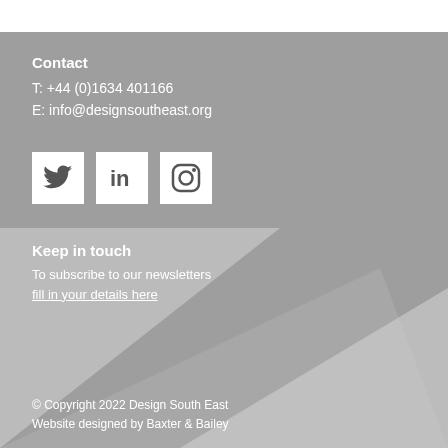Contact
T: +44 (0)1634 401166
E: info@designsoutheast.org
[Figure (other): Social media icons: Twitter, LinkedIn, Instagram]
Keep in touch
To subscribe to our newsletters fill in your details here
[Figure (other): Decorative geometric triangle shapes in lighter gray]
© Copyright 2022 Design South East
Website designed by Baxter & Bailey